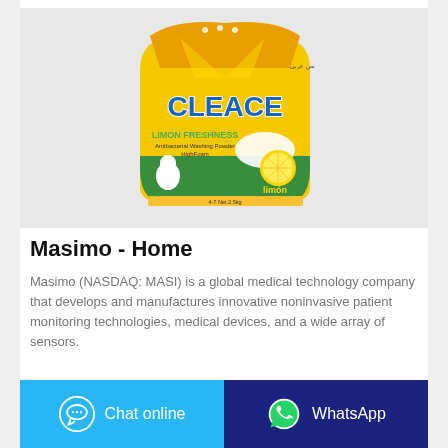[Figure (photo): Yellow bag of CLEACE Limon Freshness Antibacterial Washing Powder High Foam laundry detergent with lemon imagery and blue branding, photographed on a neutral gray background.]
Masimo - Home
Masimo (NASDAQ: MASI) is a global medical technology company that develops and manufactures innovative noninvasive patient monitoring technologies, medical devices, and a wide array of sensors.
[Figure (other): Chat online button (light blue) and WhatsApp button (dark blue) at the bottom of the page.]